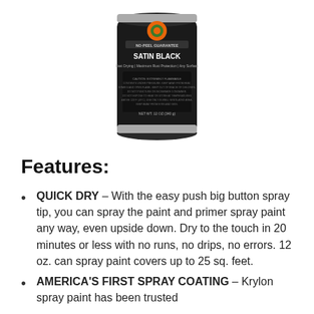[Figure (photo): A spray paint can labeled 'SATIN BLACK' with 'NO-PEEL GUARANTEE', Krylon brand, 12 oz (340g) can with black label and orange/green logo at top]
Features:
QUICK DRY – With the easy push big button spray tip, you can spray the paint and primer spray paint any way, even upside down. Dry to the touch in 20 minutes or less with no runs, no drips, no errors. 12 oz. can spray paint covers up to 25 sq. feet.
AMERICA'S FIRST SPRAY COATING – Krylon spray paint has been trusted